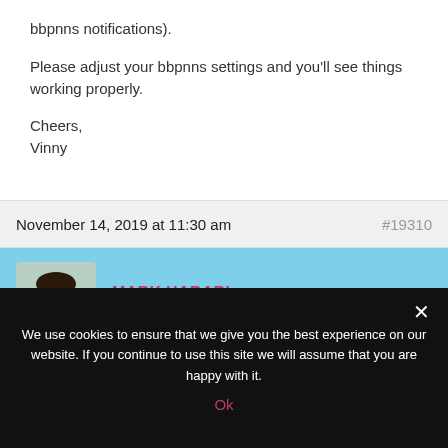bbpnns notifications).
Please adjust your bbpnns settings and you'll see things working properly.
Cheers,
Vinny
November 14, 2019 at 11:30 am
#19310
[Figure (photo): Profile photo of Mark Harari, a man with dark hair and beard wearing a blue shirt]
MARK HARARI
Participant
This reply has been marked as private
We use cookies to ensure that we give you the best experience on our website. If you continue to use this site we will assume that you are happy with it.
Ok